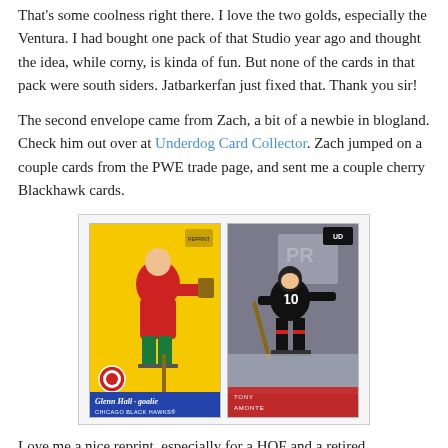That's some coolness right there. I love the two golds, especially the Ventura. I had bought one pack of that Studio year ago and thought the idea, while corny, is kinda of fun. But none of the cards in that pack were south siders. Jatbarkerfan just fixed that. Thank you sir!
The second envelope came from Zach, a bit of a newbie in blogland. Check him out over at Underdog Card Collector. Zach jumped on a couple cards from the PWE trade page, and sent me a couple cherry Blackhawk cards.
[Figure (photo): Two hockey cards side by side: left card is a vintage yellow Glenn Hall goalie card for Chicago Black Hawks; right card is a modern Tony Amonte #10 Chicago Blackhawks action photo card.]
Love me a nice reprint, especially for a HOF and a retired